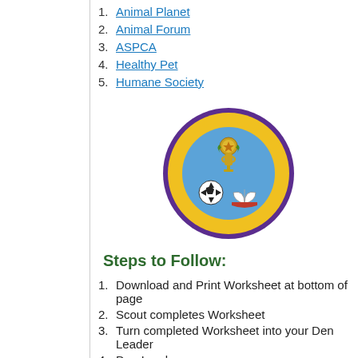1. Animal Planet
2. Animal Forum
3. ASPCA
4. Healthy Pet
5. Humane Society
[Figure (illustration): Circular patch/badge for Academics and Sports featuring a soccer ball, trophy, and open book on a yellow and blue background with purple border and gold text reading ACADEMICS AND SPORTS]
Steps to Follow:
1. Download and Print Worksheet at bottom of page
2. Scout completes Worksheet
3. Turn completed Worksheet into your Den Leader
4. Den Leader may